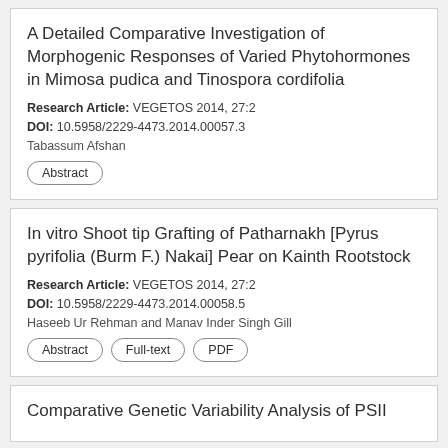A Detailed Comparative Investigation of Morphogenic Responses of Varied Phytohormones in Mimosa pudica and Tinospora cordifolia
Research Article: VEGETOS 2014, 27:2
DOI: 10.5958/2229-4473.2014.00057.3
Tabassum Afshan
Abstract
In vitro Shoot tip Grafting of Patharnakh [Pyrus pyrifolia (Burm F.) Nakai] Pear on Kainth Rootstock
Research Article: VEGETOS 2014, 27:2
DOI: 10.5958/2229-4473.2014.00058.5
Haseeb Ur Rehman and Manav Inder Singh Gill
Abstract
Full-text
PDF
Comparative Genetic Variability Analysis of PSII